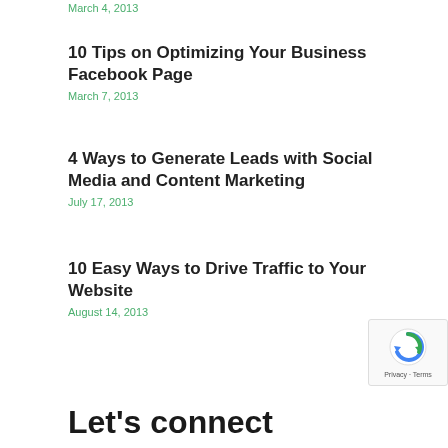March 4, 2013
10 Tips on Optimizing Your Business Facebook Page
March 7, 2013
4 Ways to Generate Leads with Social Media and Content Marketing
July 17, 2013
10 Easy Ways to Drive Traffic to Your Website
August 14, 2013
Let's connect